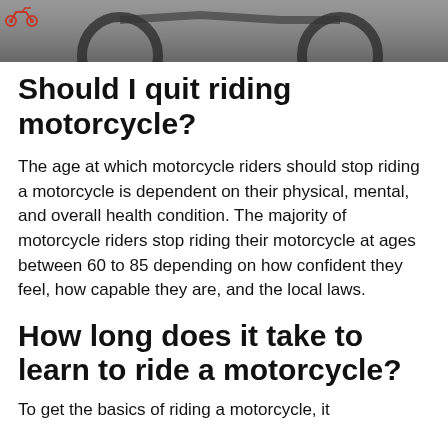[Figure (photo): Top portion of a motorcycle photo with a red motorcycle icon/logo in the upper left corner. Dark grey and black tones showing motorcycle parts.]
Should I quit riding motorcycle?
The age at which motorcycle riders should stop riding a motorcycle is dependent on their physical, mental, and overall health condition. The majority of motorcycle riders stop riding their motorcycle at ages between 60 to 85 depending on how confident they feel, how capable they are, and the local laws.
How long does it take to learn to ride a motorcycle?
To get the basics of riding a motorcycle, it